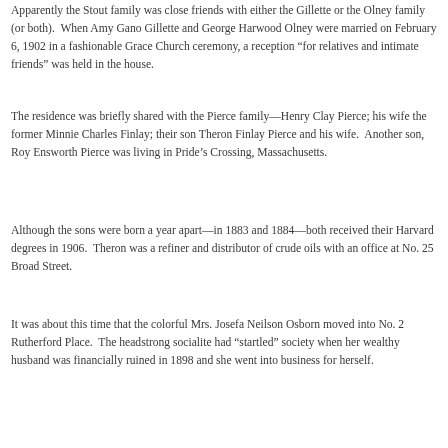Apparently the Stout family was close friends with either the Gillette or the Olney family (or both). When Amy Gano Gillette and George Harwood Olney were married on February 6, 1902 in a fashionable Grace Church ceremony, a reception “for relatives and intimate friends” was held in the house.
The residence was briefly shared with the Pierce family—Henry Clay Pierce; his wife the former Minnie Charles Finlay; their son Theron Finlay Pierce and his wife. Another son, Roy Ensworth Pierce was living in Pride’s Crossing, Massachusetts.
Although the sons were born a year apart—in 1883 and 1884—both received their Harvard degrees in 1906. Theron was a refiner and distributor of crude oils with an office at No. 25 Broad Street.
It was about this time that the colorful Mrs. Josefa Neilson Osborn moved into No. 2 Rutherford Place. The headstrong socialite had “startled” society when her wealthy husband was financially ruined in 1898 and she went into business for herself.